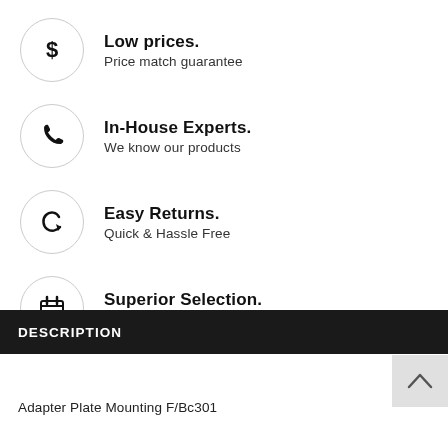Low prices. Price match guarantee
In-House Experts. We know our products
Easy Returns. Quick & Hassle Free
Superior Selection. Extensive product catalog
DESCRIPTION
Adapter Plate Mounting F/Bc301